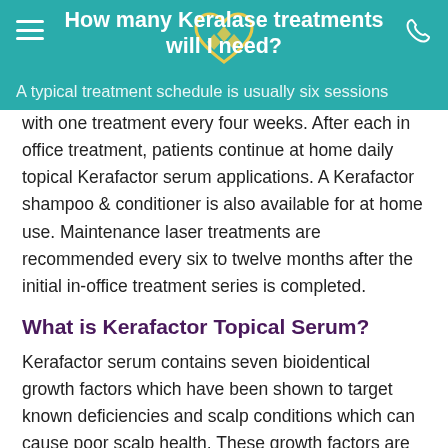How many Keralase treatments will I need?
A typical treatment schedule is usually six sessions with one treatment every four weeks. After each in office treatment, patients continue at home daily topical Kerafactor serum applications. A Kerafactor shampoo & conditioner is also available for at home use. Maintenance laser treatments are recommended every six to twelve months after the initial in-office treatment series is completed.
What is Kerafactor Topical Serum?
Kerafactor serum contains seven bioidentical growth factors which have been shown to target known deficiencies and scalp conditions which can cause poor scalp health. These growth factors are delivered in a nanoliposome carrier for increased absorption. This serum formulation can improve thinning hair. When applied topically to the scalp, it promotes stronger, thicker and fuller looking hair in both men